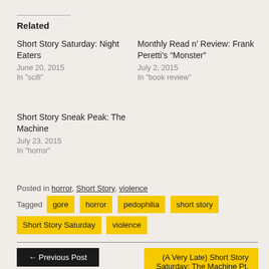Related
Short Story Saturday: Night Eaters
June 20, 2015
In "scifi"
Monthly Read n’ Review: Frank Peretti’s “Monster”
July 2, 2015
In "book review"
Short Story Sneak Peak: The Machine
July 23, 2015
In "horror"
Posted in horror, Short Story, violence
Tagged gore horror pedophilia short story Short Story Saturday violence